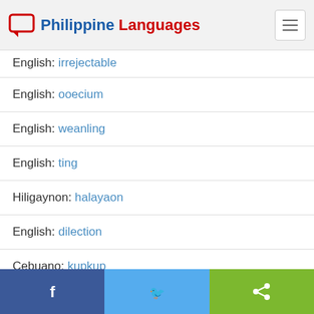Philippine Languages
English: irrejectable
English: ooecium
English: weanling
English: ting
Hiligaynon: halayaon
English: dilection
Cebuano: kupkup